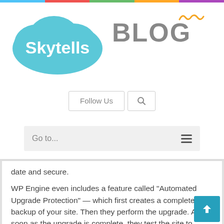[Figure (logo): Skytells Blog logo with cloud icon and BLOG text in gray with orange squiggle]
Follow Us
Go to...
date and secure.
WP Engine even includes a feature called “Automated Upgrade Protection” — which first creates a complete backup of your site. Then they perform the upgrade. As soon as the upgrade is complete, they test the site to make sure your site is loading as expected.